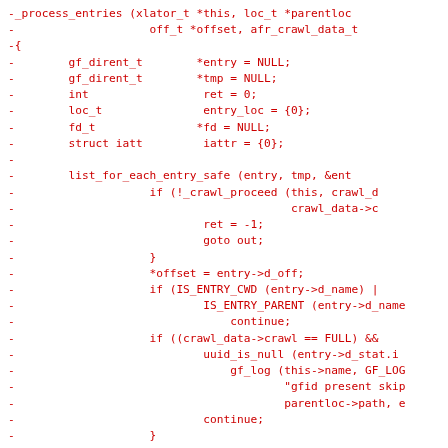-_process_entries (xlator_t *this, loc_t *parentloc
-                    off_t *offset, afr_crawl_data_t
-{
-        gf_dirent_t        *entry = NULL;
-        gf_dirent_t        *tmp = NULL;
-        int                 ret = 0;
-        loc_t               entry_loc = {0};
-        fd_t               *fd = NULL;
-        struct iatt         iattr = {0};
-
-        list_for_each_entry_safe (entry, tmp, &ent
-                    if (!_crawl_proceed (this, crawl_d
-                                         crawl_data->c
-                            ret = -1;
-                            goto out;
-                    }
-                    *offset = entry->d_off;
-                    if (IS_ENTRY_CWD (entry->d_name) |
-                            IS_ENTRY_PARENT (entry->d_name
-                                continue;
-                    if ((crawl_data->crawl == FULL) &&
-                            uuid_is_null (entry->d_stat.i
-                                gf_log (this->name, GF_LOG
-                                        "gfid present skip
-                                        parentloc->path, e
-                            continue;
-                    }
-
-                    loc_wipe (&entry_loc);
-                    ret = afr_crawl_build_child_loc (t